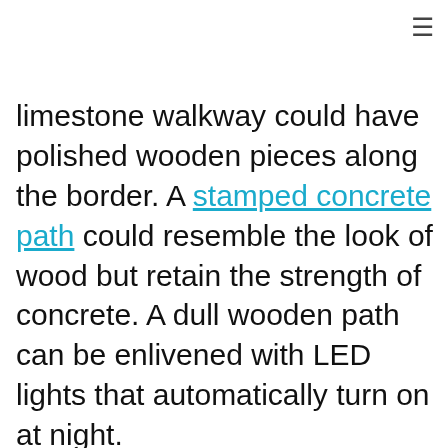≡
limestone walkway could have polished wooden pieces along the border. A stamped concrete path could resemble the look of wood but retain the strength of concrete. A dull wooden path can be enlivened with LED lights that automatically turn on at night.
1. MODERN SMALL BACKYARD DESIGNS
2. WALKWAY STEPPING STONES